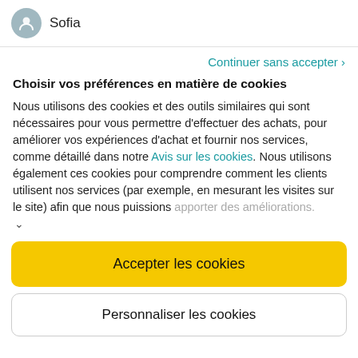Sofia
Continuer sans accepter ›
Choisir vos préférences en matière de cookies
Nous utilisons des cookies et des outils similaires qui sont nécessaires pour vous permettre d'effectuer des achats, pour améliorer vos expériences d'achat et fournir nos services, comme détaillé dans notre Avis sur les cookies. Nous utilisons également ces cookies pour comprendre comment les clients utilisent nos services (par exemple, en mesurant les visites sur le site) afin que nous puissions apporter des améliorations.
Accepter les cookies
Personnaliser les cookies